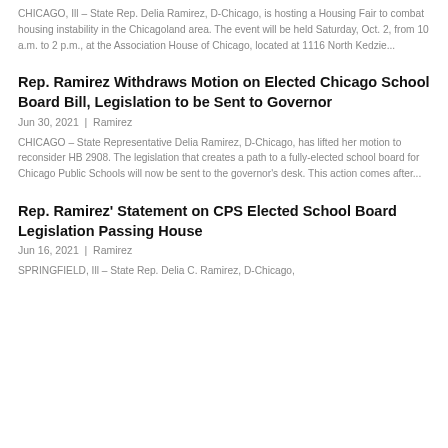CHICAGO, Ill – State Rep. Delia Ramirez, D-Chicago, is hosting a Housing Fair to combat housing instability in the Chicagoland area. The event will be held Saturday, Oct. 2, from 10 a.m. to 2 p.m., at the Association House of Chicago, located at 1116 North Kedzie...
Rep. Ramirez Withdraws Motion on Elected Chicago School Board Bill, Legislation to be Sent to Governor
Jun 30, 2021 | Ramirez
CHICAGO – State Representative Delia Ramirez, D-Chicago, has lifted her motion to reconsider HB 2908. The legislation that creates a path to a fully-elected school board for Chicago Public Schools will now be sent to the governor's desk. This action comes after...
Rep. Ramirez' Statement on CPS Elected School Board Legislation Passing House
Jun 16, 2021 | Ramirez
SPRINGFIELD, Ill – State Rep. Delia C. Ramirez, D-Chicago,